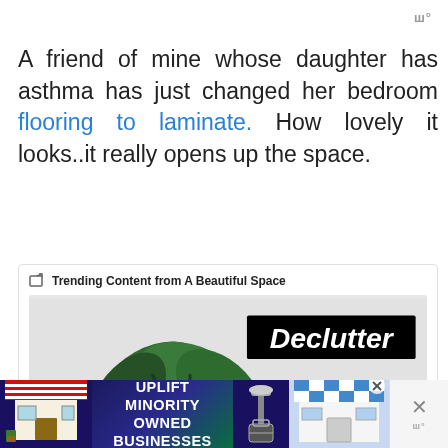ш°
A friend of mine whose daughter has asthma has just changed her bedroom flooring to laminate. How lovely it looks..it really opens up the space.
Trending Content from A Beautiful Space
[Figure (photo): Image showing a plant with large green leaves on a grey background with a 'Declutter' label in bold italic white text on black background]
[Figure (infographic): Advertisement banner: UPLIFT MINORITY OWNED BUSINESSES with storefront graphics on dark blue/green background]